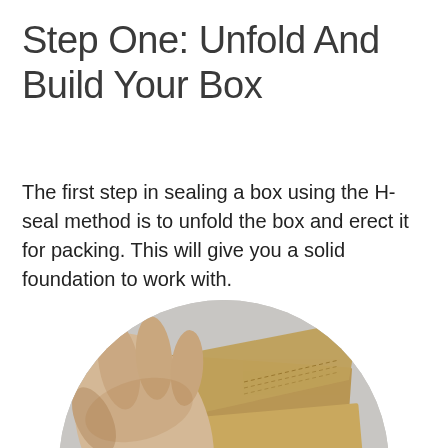Step One: Unfold And Build Your Box
The first step in sealing a box using the H-seal method is to unfold the box and erect it for packing. This will give you a solid foundation to work with.
[Figure (photo): A person's hand unfolding and erecting a corrugated cardboard box, shown in a circular cropped photo against a gray background.]